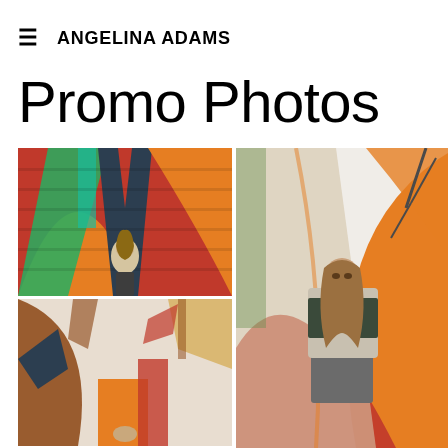≡  ANGELINA ADAMS
Promo Photos
[Figure (photo): Young woman standing in front of a colorful geometric mural with orange, green, red, and dark shapes spelling 'DW']
[Figure (photo): Close-up of colorful graffiti/mural with orange, red, brown, black abstract lettering shapes]
[Figure (photo): Young woman posing in front of a colorful mural with orange, red, tan, and green abstract shapes, looking over her shoulder]